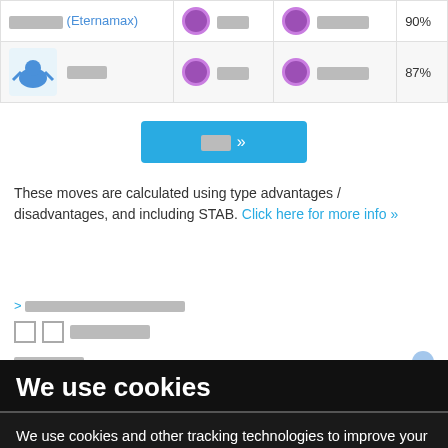| Pokemon | Fast Move | Charged Move | % |
| --- | --- | --- | --- |
| ██████ (Eternamax) | ████ | ████████ | 90% |
| █████ | ████ | ████████ | 87% |
███ »
These moves are calculated using type advantages / disadvantages, and including STAB. Click here for more info »
We use cookies
We use cookies and other tracking technologies to improve your browsing experience on our website, to show you personalized content and targeted ads, to analyze our website traffic, and to understand where our visitors are coming from. By browsing our website, you consent to our use of cookies and other tracking technologies.
1. DOWNLOAD POKEMON GAMES
I agree
Change my preferences